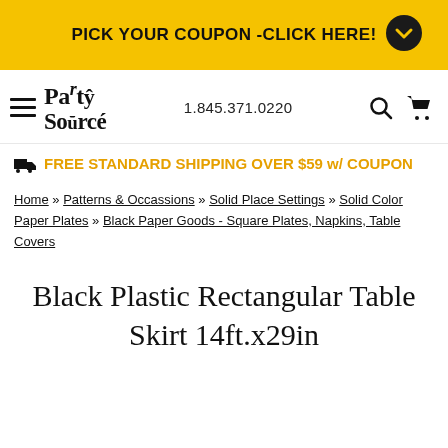PICK YOUR COUPON -CLICK HERE!
[Figure (logo): Party Source logo with hamburger menu, phone number 1.845.371.0220, search and cart icons]
FREE STANDARD SHIPPING OVER $59 w/ COUPON
Home » Patterns & Occassions » Solid Place Settings » Solid Color Paper Plates » Black Paper Goods - Square Plates, Napkins, Table Covers
Black Plastic Rectangular Table Skirt 14ft.x29in